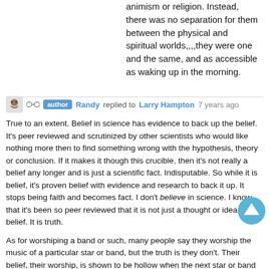animism or religion. Instead, there was no separation for them between the physical and spiritual worlds,,,,they were one and the same, and as accessible as waking up in the morning.
author Randy replied to Larry Hampton 7 years ago
True to an extent. Belief in science has evidence to back up the belief. It's peer reviewed and scrutinized by other scientists who would like nothing more then to find something wrong with the hypothesis, theory or conclusion. If it makes it though this crucible, then it's not really a belief any longer and is just a scientific fact. Indisputable. So while it is belief, it's proven belief with evidence and research to back it up. It stops being faith and becomes fact. I don't believe in science. I know that it's been so peer reviewed that it is not just a thought or idea or belief. It is truth.
As for worshiping a band or such, many people say they worship the music of a particular star or band, but the truth is they don't. Their belief, their worship, is shown to be hollow when the next star or band comes along that they transfer their worship to. It's no different then I did with